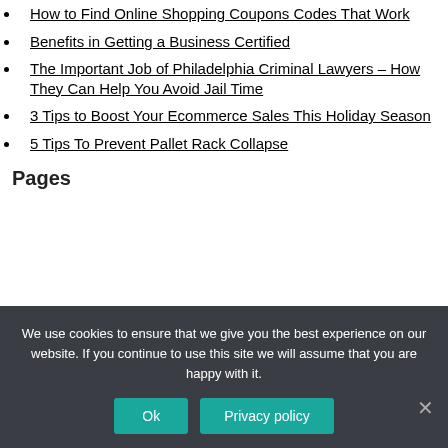How to Find Online Shopping Coupons Codes That Work
Benefits in Getting a Business Certified
The Important Job of Philadelphia Criminal Lawyers – How They Can Help You Avoid Jail Time
3 Tips to Boost Your Ecommerce Sales This Holiday Season
5 Tips To Prevent Pallet Rack Collapse
Pages
We use cookies to ensure that we give you the best experience on our website. If you continue to use this site we will assume that you are happy with it.